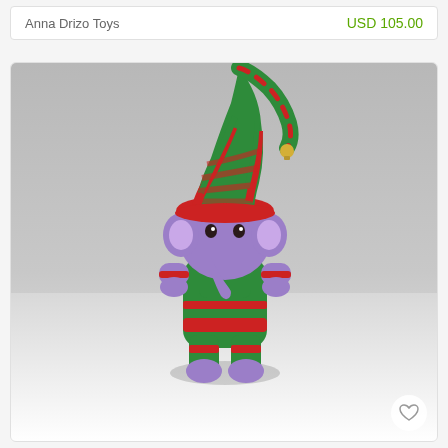Anna Drizo Toys
USD 105.00
[Figure (photo): A knitted purple elephant toy dressed in a green and red striped elf costume with a long striped hat, sitting on a white surface against a gray background.]